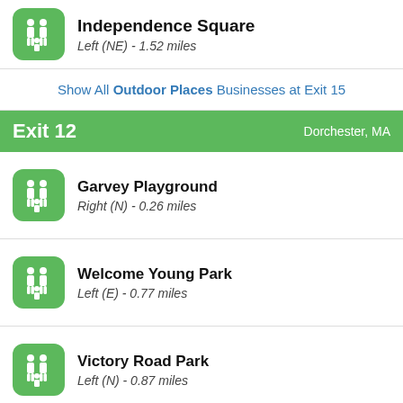Independence Square
Left (NE) - 1.52 miles
Show All Outdoor Places Businesses at Exit 15
Exit 12  Dorchester, MA
Garvey Playground
Right (N) - 0.26 miles
Welcome Young Park
Left (E) - 0.77 miles
Victory Road Park
Left (N) - 0.87 miles
(partial item at bottom)